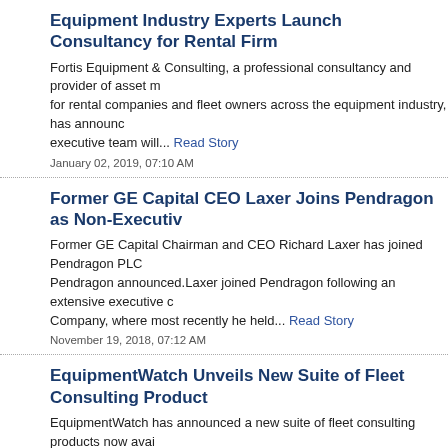Equipment Industry Experts Launch Consultancy for Rental Firms
Fortis Equipment & Consulting, a professional consultancy and provider of asset management services for rental companies and fleet owners across the equipment industry, has announced its launch. The company's executive team will... Read Story
January 02, 2019, 07:10 AM
Former GE Capital CEO Laxer Joins Pendragon as Non-Executive Director
Former GE Capital Chairman and CEO Richard Laxer has joined Pendragon PLC as non-executive director, Pendragon announced. Laxer joined Pendragon following an extensive executive career at General Electric Company, where most recently he held... Read Story
November 19, 2018, 07:12 AM
EquipmentWatch Unveils New Suite of Fleet Consulting Products
EquipmentWatch has announced a new suite of fleet consulting products now available to equipment professionals seeking efficient solutions to large-scale fleet problems. Through an array of Benchmark Digests, these... Read Story
October 24, 2018, 07:15 AM
Bestpass Launches National Toll Solution for Trailer Rental, Leasing
Bestpass, a company that provides single-source payment and streamlined toll management for commercial fleets, announced a new trailer pay-by-plate solution to help trailer rental and leasing companies reduce time-consuming... Read Story